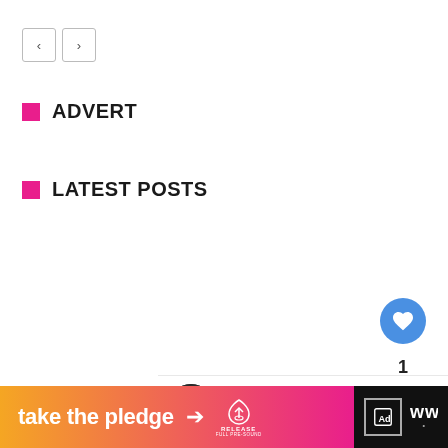[Figure (screenshot): Navigation previous/next buttons (< and >) with light gray borders]
ADVERT
LATEST POSTS
[Figure (screenshot): Blue circular heart/like button with count of 1 below it]
[Figure (screenshot): Pink scroll-to-top arrow button]
[Figure (screenshot): What's Next panel with Batman Animated... text and avatar photo]
[Figure (screenshot): Bottom banner ad with orange-to-pink gradient, 'take the pledge', arrow, Release logo, ad icon, and Wattpad icon]